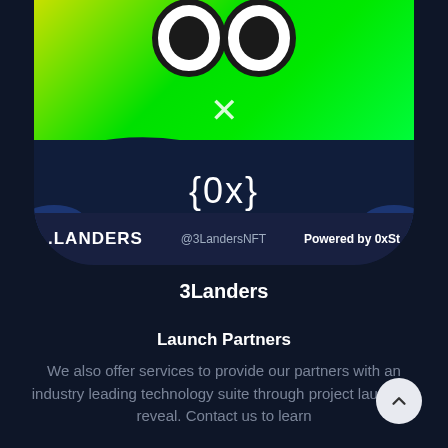[Figure (screenshot): Screenshot of a dark-themed NFT marketplace or profile page showing a 3Landers NFT card. The card features a green character with white eyes and an X mark on its face, a dark blue lower section with an {0x} logo, and a bottom bar showing '.LANDERS', '@3LandersNFT', and 'Powered by 0xSt'. Below the card is the collection name '3Landers'.]
Launch Partners
We also offer services to provide our partners with an industry leading technology suite through project launch & reveal. Contact us to learn